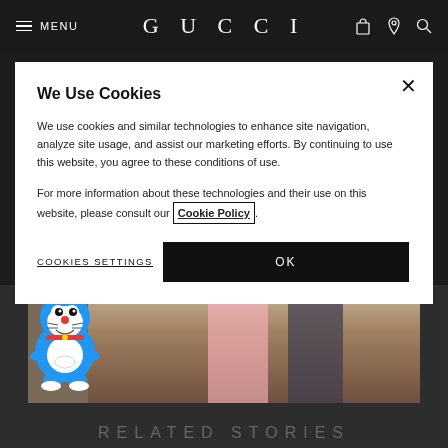MENU | GUCCI
We Use Cookies
We use cookies and similar technologies to enhance site navigation, analyze site usage, and assist our marketing efforts. By continuing to use this website, you agree to these conditions of use.
For more information about these technologies and their use on this website, please consult our Cookie Policy.
COOKIES SETTINGS
OK
[Figure (photo): Background photo of people around a table with food; Doraemon cartoon character overlaid on left side]
RELATED STORIES